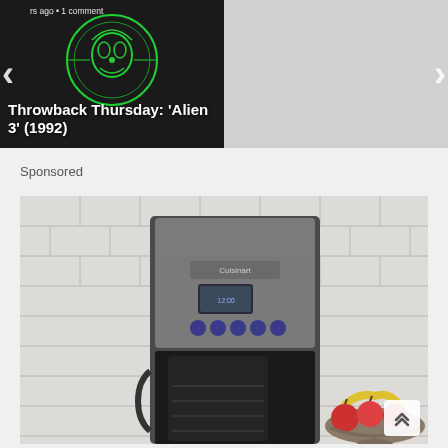[Figure (screenshot): Carousel card: Throwback Thursday: Alien 3 (1992) - black background with green alien glyph circle, timestamp '...rs ago • 1 comment']
[Figure (screenshot): Carousel card: Book Review: Star Wars: Death ... - dark background with sci-fi figure, timestamp '2 years ago • 1 comment']
Sponsored
[Figure (photo): Sponsored advertisement photo of a Cuisinart coffee maker (stainless steel/black) on a kitchen counter in front of a white tile backsplash, with a fruit bowl visible on the right side]